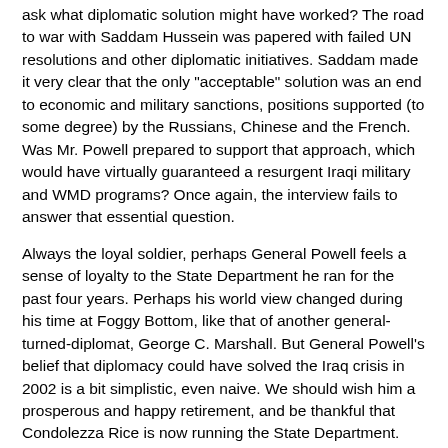ask what diplomatic solution might have worked? The road to war with Saddam Hussein was papered with failed UN resolutions and other diplomatic initiatives. Saddam made it very clear that the only "acceptable" solution was an end to economic and military sanctions, positions supported (to some degree) by the Russians, Chinese and the French. Was Mr. Powell prepared to support that approach, which would have virtually guaranteed a resurgent Iraqi military and WMD programs? Once again, the interview fails to answer that essential question.
Always the loyal soldier, perhaps General Powell feels a sense of loyalty to the State Department he ran for the past four years. Perhaps his world view changed during his time at Foggy Bottom, like that of another general-turned-diplomat, George C. Marshall. But General Powell's belief that diplomacy could have solved the Iraq crisis in 2002 is a bit simplistic, even naive. We should wish him a prosperous and happy retirement, and be thankful that Condolezza Rice is now running the State Department.